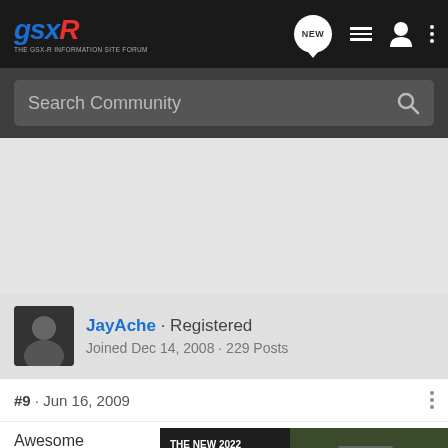GSXR · THE GSX-R INFORMATION SITE FORUM
Search Community
JayAche · Registered
Joined Dec 14, 2008 · 229 Posts
#9 · Jun 16, 2009
Awesome
[Figure (screenshot): Advertisement banner: THE NEW 2022 SILVERADO. Explore. Chevrolet logo. Dark photo of a Silverado truck in a field.]